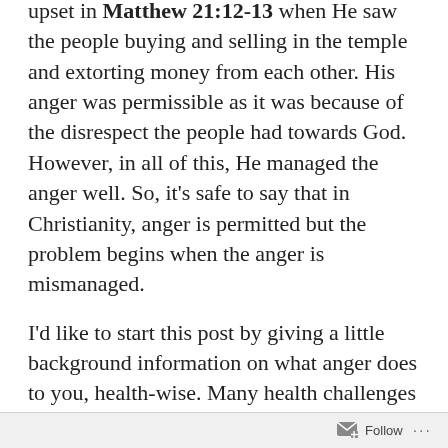It is not a sin to get angry. Jesus Himself got upset in Matthew 21:12-13 when He saw the people buying and selling in the temple and extorting money from each other. His anger was permissible as it was because of the disrespect the people had towards God. However, in all of this, He managed the anger well. So, it's safe to say that in Christianity, anger is permitted but the problem begins when the anger is mismanaged.
I'd like to start this post by giving a little background information on what anger does to you, health-wise. Many health challenges are triggered by anger. Depending on the intensity of the anger, a person could pass out, get a heart...
Follow ···